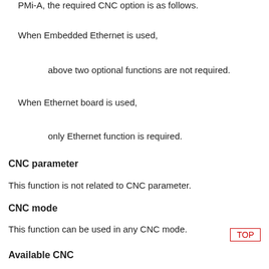PMi-A, the required CNC option is as follows.
When Embedded Ethernet is used,
above two optional functions are not required.
When Ethernet board is used,
only Ethernet function is required.
CNC parameter
This function is not related to CNC parameter.
CNC mode
This function can be used in any CNC mode.
Available CNC